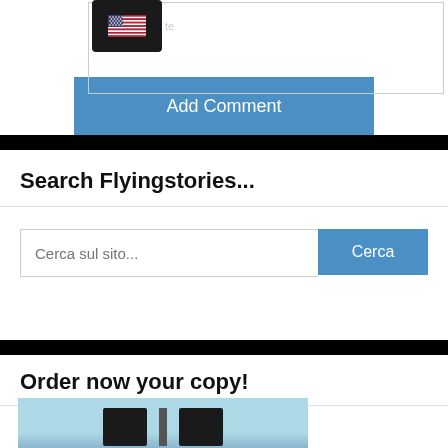[Figure (screenshot): Flag icon (US flag) in dark rounded rectangle, with partial text 'te' visible to right, inside a bordered input area]
Add Comment
Search Flyingstories...
Cerca sul sito...
Cerca
Order now your copy!
[Figure (photo): Partial view of a book or product image with blue sky background and dark shapes at bottom]